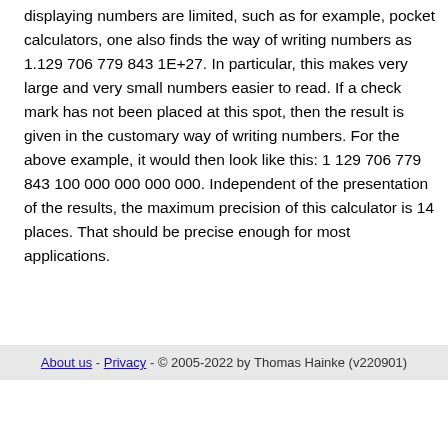displaying numbers are limited, such as for example, pocket calculators, one also finds the way of writing numbers as 1.129 706 779 843 1E+27. In particular, this makes very large and very small numbers easier to read. If a check mark has not been placed at this spot, then the result is given in the customary way of writing numbers. For the above example, it would then look like this: 1 129 706 779 843 100 000 000 000 000. Independent of the presentation of the results, the maximum precision of this calculator is 14 places. That should be precise enough for most applications.
About us - Privacy - © 2005-2022 by Thomas Hainke (v220901)